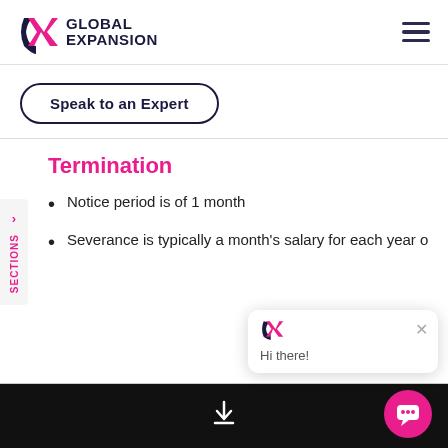GLOBAL EXPANSION
Speak to an Expert
Termination
Notice period is of 1 month
Severance is typically a month's salary for each year o
Hi there!